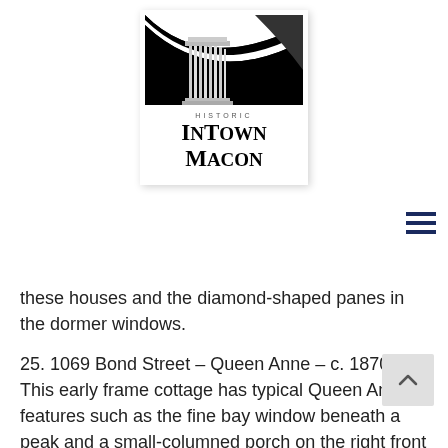[Figure (logo): Historic InTown Macon logo with a classical column and curved decorative element in black and white]
these houses and the diamond-shaped panes in the dormer windows.
25. 1069 Bond Street – Queen Anne – c. 1870
This early frame cottage has typical Queen Anne features such as the fine bay window beneath a peak and a small-columned porch on the right front which shades the house's tall windows.
26. Woodruff House's Bond Street Wall